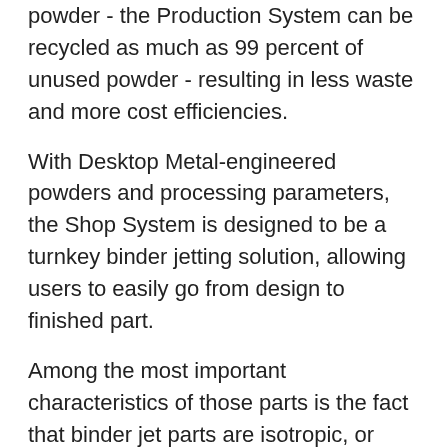powder - the Production System can be recycled as much as 99 percent of unused powder - resulting in less waste and more cost efficiencies.
With Desktop Metal-engineered powders and processing parameters, the Shop System is designed to be a turnkey binder jetting solution, allowing users to easily go from design to finished part.
Among the most important characteristics of those parts is the fact that binder jet parts are isotropic, or equally strong in all directions.
That hasn't always been true for 3D printed parts. Because they're built up layer-by-layer, some parts - depending on printing method - may be stronger in one direction than another. To compensate for the